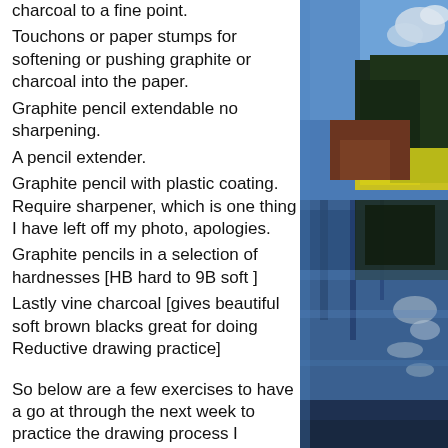charcoal to a fine point.
Touchons or paper stumps for softening or pushing graphite or charcoal into the paper.
Graphite pencil extendable no sharpening.
A pencil extender.
Graphite pencil with plastic coating. Require sharpener, which is one thing I have left off my photo, apologies.
Graphite pencils in a selection of hardnesses [HB hard to 9B soft ]
Lastly vine charcoal [gives beautiful soft brown blacks great for doing Reductive drawing practice]
So below are a few exercises to have a go at through the next week to practice the drawing process I currently teach.
[Figure (photo): Abstract painting with blue, yellow, green, brown, and white colors depicting a landscape reflected in water]